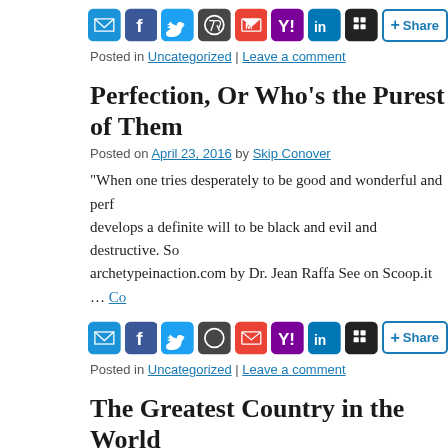[Figure (infographic): Social share buttons row: email, Facebook, Twitter, WordPress, Gmail, Yahoo, LinkedIn, Mightybell, and Share+ button]
Posted in Uncategorized | Leave a comment
Perfection, Or Who's the Purest of Them
Posted on April 23, 2016 by Skip Conover
“When one tries desperately to be good and wonderful and perf... develops a definite will to be black and evil and destructive. So... archetypeinaction.com by Dr. Jean Raffa See on Scoop.it … Co
[Figure (infographic): Social share buttons row: email, Facebook, Twitter, WordPress, Gmail, Yahoo, LinkedIn, Mightybell, and Share+ button]
Posted in Uncategorized | Leave a comment
The Greatest Country in the World
Posted on April 22, 2016 by Skip Conover